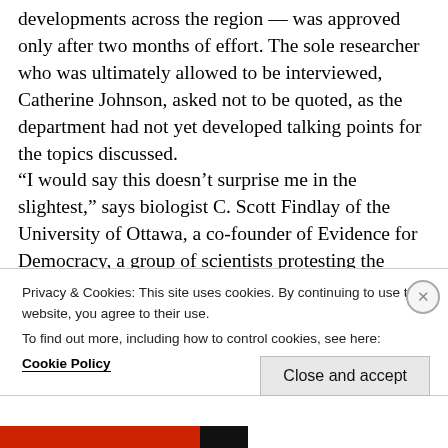developments across the region — was approved only after two months of effort. The sole researcher who was ultimately allowed to be interviewed, Catherine Johnson, asked not to be quoted, as the department had not yet developed talking points for the topics discussed. “I would say this doesn’t surprise me in the slightest,” says biologist C. Scott Findlay of the University of Ottawa, a co-founder of Evidence for Democracy, a group of scientists protesting the federal government’s communications policies. “Issues that are either directly or indirectly associated with climate change are something the
Privacy & Cookies: This site uses cookies. By continuing to use this website, you agree to their use.
To find out more, including how to control cookies, see here:
Cookie Policy
Close and accept